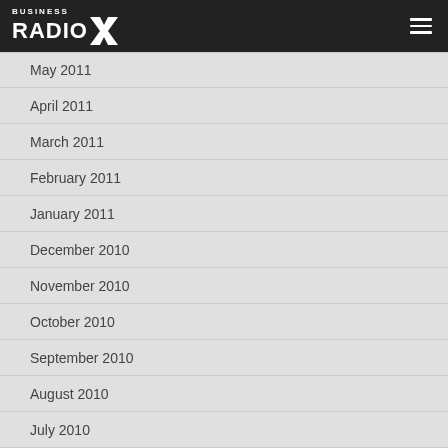Business RadioX
May 2011
April 2011
March 2011
February 2011
January 2011
December 2010
November 2010
October 2010
September 2010
August 2010
July 2010
June 2010